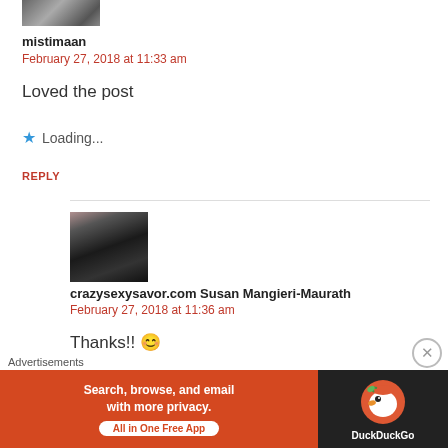[Figure (photo): Partial avatar image of user mistimaan cropped at top of page]
mistimaan
February 27, 2018 at 11:33 am
Loved the post
Loading...
REPLY
[Figure (photo): Avatar photo of crazysexysavor.com Susan Mangieri-Maurath, woman with dark hair]
crazysexysavor.com Susan Mangieri-Maurath
February 27, 2018 at 11:36 am
Thanks!! 😊
Advertisements
[Figure (screenshot): DuckDuckGo advertisement banner: Search, browse, and email with more privacy. All in One Free App. DuckDuckGo logo on dark background.]